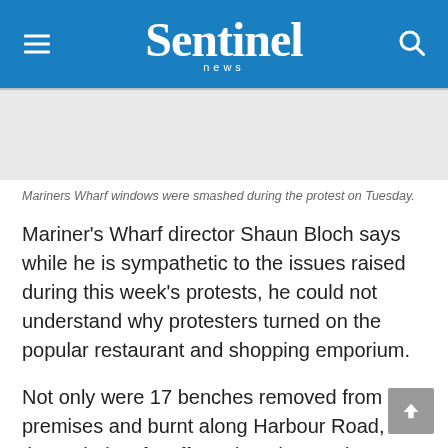Sentinel news
[Figure (photo): Gray image placeholder for Mariners Wharf photo]
Mariners Wharf windows were smashed during the protest on Tuesday.
Mariner's Wharf director Shaun Bloch says while he is sympathetic to the issues raised during this week's protests, he could not understand why protesters turned on the popular restaurant and shopping emporium.
Not only were 17 benches removed from the premises and burnt along Harbour Road, but the majority of staff employed at Mariner's Wharf are from Hangberg.
“We are concerned why they chose to do this, as we have